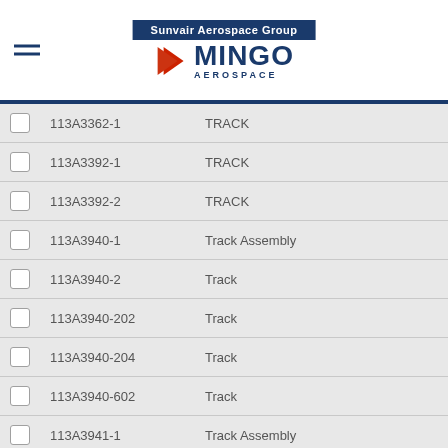[Figure (logo): Sunvair Aerospace Group / Mingo Aerospace logo with blue header banner and red chevron]
113A3362-1 | TRACK
113A3392-1 | TRACK
113A3392-2 | TRACK
113A3940-1 | Track Assembly
113A3940-2 | Track
113A3940-202 | Track
113A3940-204 | Track
113A3940-602 | Track
113A3941-1 | Track Assembly
113A3941-2 | Track
113A3941-202 | Track